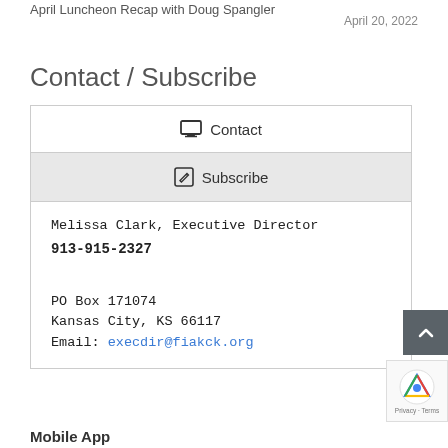April Luncheon Recap with Doug Spangler
April 20, 2022
Contact / Subscribe
| Contact |
| Subscribe |
| Melissa Clark, Executive Director
913-915-2327

PO Box 171074
Kansas City, KS 66117
Email: execdir@fiakck.org |
Mobile App